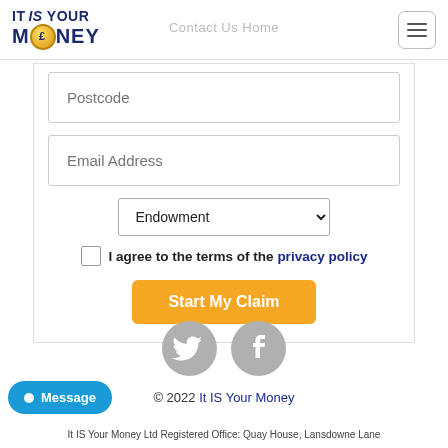[Figure (logo): It IS Your Money logo with gold coin and dark blue text]
Postcode
Email Address
Endowment (dropdown)
I agree to the terms of the privacy policy
Start My Claim
[Figure (illustration): Twitter and Facebook social media icons in grey]
© 2022 It IS Your Money
It IS Your Money Ltd Registered Office: Quay House, Lansdowne Lane